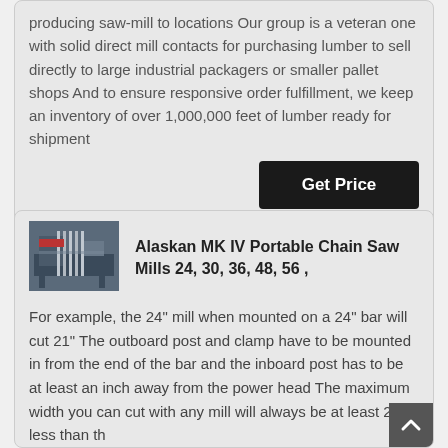producing saw-mill to locations Our group is a veteran one with solid direct mill contacts for purchasing lumber to sell directly to large industrial packagers or smaller pallet shops And to ensure responsive order fulfillment, we keep an inventory of over 1,000,000 feet of lumber ready for shipment
[Figure (photo): Photo of an Alaskan MK IV Portable Chain Saw Mill machine]
Alaskan MK IV Portable Chain Saw Mills 24, 30, 36, 48, 56 ,
For example, the 24" mill when mounted on a 24" bar will cut 21" The outboard post and clamp have to be mounted in from the end of the bar and the inboard post has to be at least an inch away from the power head The maximum width you can cut with any mill will always be at least 2" less than th